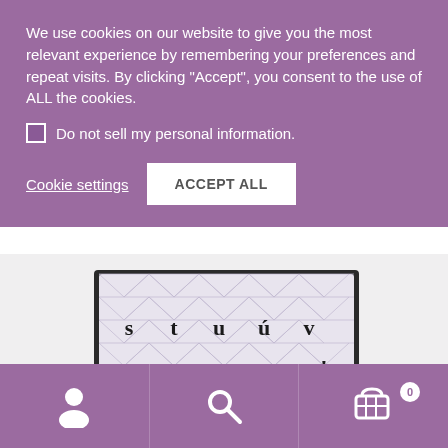We use cookies on our website to give you the most relevant experience by remembering your preferences and repeat visits. By clicking “Accept”, you consent to the use of ALL the cookies.
Do not sell my personal information.
Cookie settings
ACCEPT ALL
[Figure (photo): Close-up photo of a Celtic alphabet lowercase stamp set showing letters s, t, u, ú, v, w, x, y, z, ! on a clear photopolymer stamp block with decorative triangle pattern background. Label reads 'LOUGH ARTS - Celtic Alphabet'.]
Celtic Alphabet Lowercase Stamp Set – A6 Clear Photopolymer
€12.99
Navigation bar with user, search, and cart (0) icons